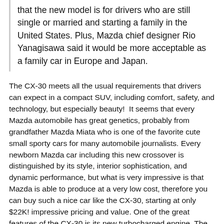that the new model is for drivers who are still single or married and starting a family in the United States. Plus, Mazda chief designer Rio Yanagisawa said it would be more acceptable as a family car in Europe and Japan.
The CX-30 meets all the usual requirements that drivers can expect in a compact SUV, including comfort, safety, and technology, but especially beauty!  It seems that every Mazda automobile has great genetics, probably from grandfather Mazda Miata who is one of the favorite cute small sporty cars for many automobile journalists. Every newborn Mazda car including this new crossover is distinguished by its style, interior sophistication, and dynamic performance, but what is very impressive is that Mazda is able to produce at a very low cost, therefore you can buy such a nice car like the CX-30, starting at only $22K! impressive pricing and value. One of the great features of the CX-30 is its new turbocharged engine. The CX-30 2.5 Turbo is one of the fastest models in its class, making this car not only very attractive but also very powerful on any road. Trims and Pricing for the 2021 Mazda CX-30 This is one of the key corporate elements that keep Mazda successful, with great pricing for all